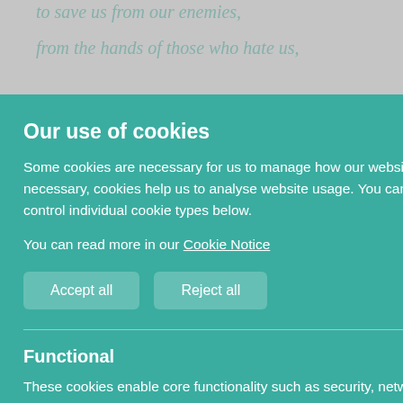to save us from our enemies,
from the hands of those who hate us,
Our use of cookies
Some cookies are necessary for us to manage how our website behaves while other optional, or non-necessary, cookies help us to analyse website usage. You can Accept All or Reject All optional cookies or control individual cookie types below.
You can read more in our Cookie Notice
Accept all
Reject all
Functional
These cookies enable core functionality such as security, network management, and accessibility. You may disable these by changing your browser settings, but this may affect how the website functions.
Analytics cookies
Analytical cookies help us to improve our website by collecting and reporting information on its usage.